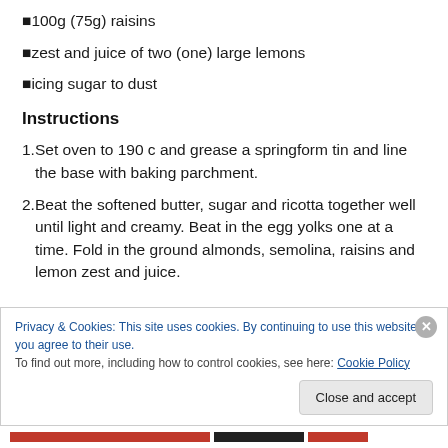100g (75g) raisins
zest and juice of two (one) large lemons
icing sugar to dust
Instructions
Set oven to 190 c and grease a springform tin and line the base with baking parchment.
Beat the softened butter, sugar and ricotta together well until light and creamy. Beat in the egg yolks one at a time. Fold in the ground almonds, semolina, raisins and lemon zest and juice.
Privacy & Cookies: This site uses cookies. By continuing to use this website, you agree to their use. To find out more, including how to control cookies, see here: Cookie Policy